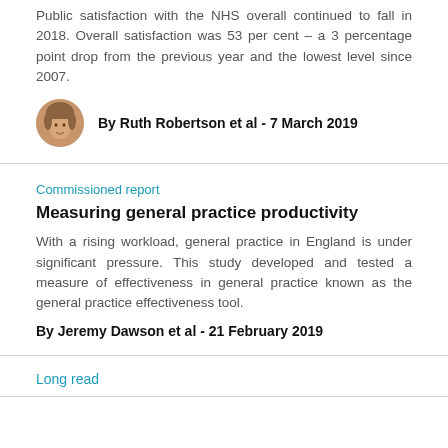Public satisfaction with the NHS overall continued to fall in 2018. Overall satisfaction was 53 per cent – a 3 percentage point drop from the previous year and the lowest level since 2007.
By Ruth Robertson et al - 7 March 2019
Commissioned report
Measuring general practice productivity
With a rising workload, general practice in England is under significant pressure. This study developed and tested a measure of effectiveness in general practice known as the general practice effectiveness tool.
By Jeremy Dawson et al - 21 February 2019
Long read